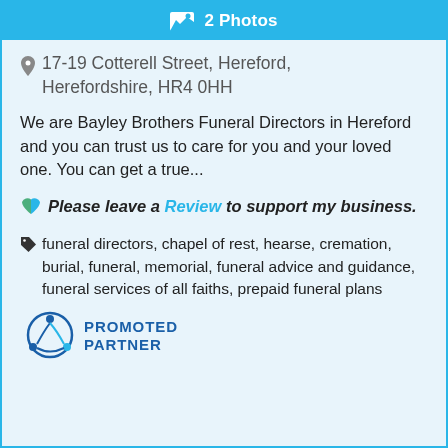[Figure (other): Blue button with photo icon and text '2 Photos']
17-19 Cotterell Street, Hereford, Herefordshire, HR4 0HH
We are Bayley Brothers Funeral Directors in Hereford and you can trust us to care for you and your loved one. You can get a true...
Please leave a Review to support my business.
funeral directors, chapel of rest, hearse, cremation, burial, funeral, memorial, funeral advice and guidance, funeral services of all faiths, prepaid funeral plans
[Figure (logo): Promoted Partner logo with blue circular arrows icon and text PROMOTED PARTNER]